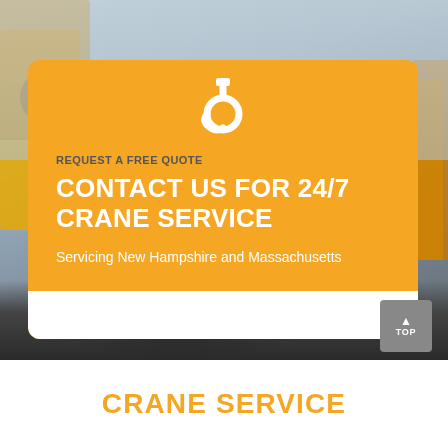[Figure (photo): Background photo of a yellow crane/construction machinery parked in a lot, with cloudy sky visible above.]
REQUEST A FREE QUOTE
CONTACT US FOR 24/7 CRANE SERVICE
Servicing New Hampshire and Massachusetts
CRANE SERVICE